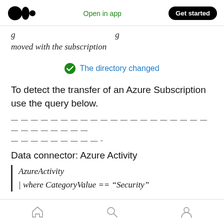Open in app | Get started
g … moved with the subscription
[Figure (infographic): Green checkmark circle icon followed by blue hyperlink text: The directory changed]
To detect the transfer of an Azure Subscription use the query below.
— — — — — — — — — — — — — — — — — — — — — — — — — — — — — — — —
Data connector: Azure Activity
AzureActivity
| where CategoryValue == "Security"
Home | Search | Profile